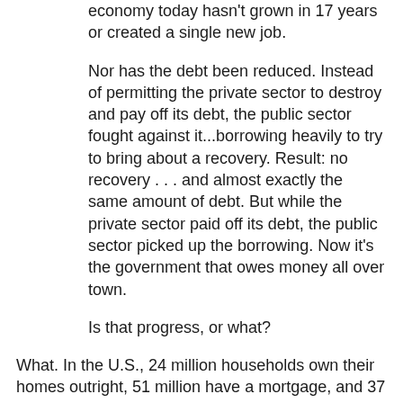economy today hasn't grown in 17 years or created a single new job.
Nor has the debt been reduced. Instead of permitting the private sector to destroy and pay off its debt, the public sector fought against it...borrowing heavily to try to bring about a recovery. Result: no recovery . . . and almost exactly the same amount of debt. But while the private sector paid off its debt, the public sector picked up the borrowing. Now it's the government that owes money all over town.
Is that progress, or what?
What. In the U.S., 24 million households own their homes outright, 51 million have a mortgage, and 37 million rent. (I focus on home mortgages here because our banks seem now to have nothing but mortgages and sovereign debt left in their portfolios.) Of the homeowners with mortgages, 11 million are under water. Bonner quotes an estimate that it will take more than eight years to clear the market of foreclosed.